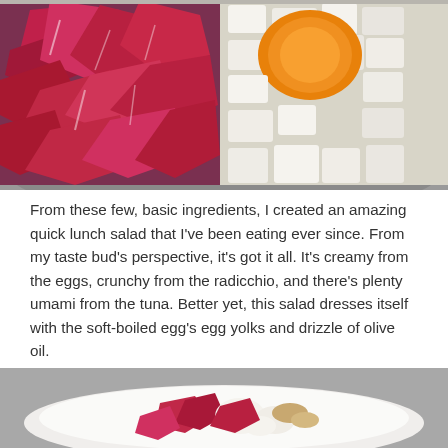[Figure (photo): Top-down view of a mixing bowl containing chopped radicchio (purple-red leaves) on the left side and chopped hard-boiled eggs with visible orange yolks on the right side, in a metal bowl.]
From these few, basic ingredients, I created an amazing quick lunch salad that I've been eating ever since. From my taste bud's perspective, it's got it all. It's creamy from the eggs, crunchy from the radicchio, and there's plenty umami from the tuna. Better yet, this salad dresses itself with the soft-boiled egg's egg yolks and drizzle of olive oil.
[Figure (photo): Close-up photo of the finished tuna radicchio egg salad served on a white plate, showing the mixed ingredients with visible radicchio, egg pieces and golden yolk.]